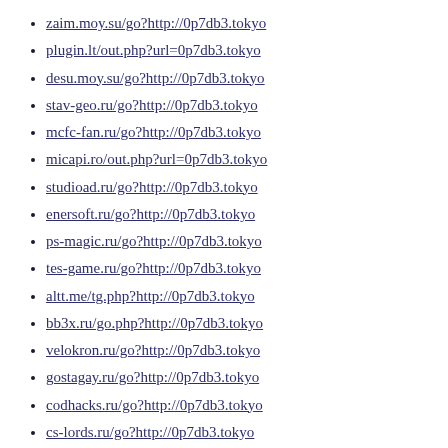zaim.moy.su/go?http://0p7db3.tokyo
plugin.lt/out.php?url=0p7db3.tokyo
desu.moy.su/go?http://0p7db3.tokyo
stav-geo.ru/go?http://0p7db3.tokyo
mcfc-fan.ru/go?http://0p7db3.tokyo
micapi.ro/out.php?url=0p7db3.tokyo
studioad.ru/go?http://0p7db3.tokyo
enersoft.ru/go?http://0p7db3.tokyo
ps-magic.ru/go?http://0p7db3.tokyo
tes-game.ru/go?http://0p7db3.tokyo
altt.me/tg.php?http://0p7db3.tokyo
bb3x.ru/go.php?http://0p7db3.tokyo
velokron.ru/go?http://0p7db3.tokyo
gostagay.ru/go?http://0p7db3.tokyo
codhacks.ru/go?http://0p7db3.tokyo
cs-lords.ru/go?http://0p7db3.tokyo
prlog.ru/analysis/www.0p7db3.tokyo
kuklaskorner.com/?URL=0p7db3.tokyo
pachl.de/url?q=http://0p7db3.tokyo